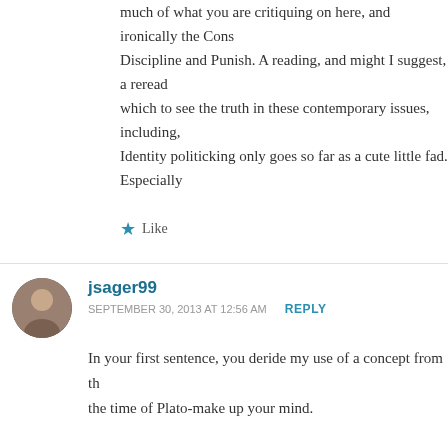much of what you are critiquing on here, and ironically the Cons Discipline and Punish. A reading, and might I suggest, a reread which to see the truth in these contemporary issues, including, Identity politicking only goes so far as a cute little fad. Especially
Like
jsager99
SEPTEMBER 30, 2013 AT 12:56 AM   REPLY
In your first sentence, you deride my use of a concept from th the time of Plato-make up your mind.
That said, you clearly lack any independent ability to analyze t simply giving me mocking book lists (by the way, I have read a criticisms. If you feel up to it, perhaps you can reply with actu in regard to gun ownership.
Yes, I am white, but that doesn't blind me to the inherent biase these biases out, merely an objective and fair assessment of the